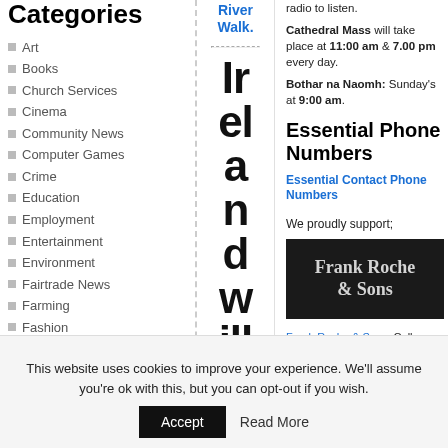Categories
Art
Books
Church Services
Cinema
Community News
Computer Games
Crime
Education
Employment
Entertainment
Environment
Fairtrade News
Farming
Fashion
Finance
Food
Gardening
General
Good Deals
River Walk.
Ir el a n d w ill
radio to listen. Cathedral Mass will take place at 11:00 am & 7.00 pm every day. Bothar na Naomh: Sunday's at 9:00 am.
Essential Phone Numbers
Essential Contact Phone Numbers
We proudly support;
[Figure (logo): Frank Roche & Sons logo — white text on dark background]
Frank Roche & Sons. Call now (0504) 22313 OR visit online at
This website uses cookies to improve your experience. We'll assume you're ok with this, but you can opt-out if you wish.